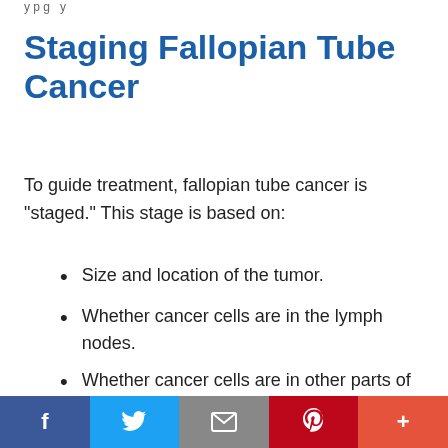y p g y
Staging Fallopian Tube Cancer
To guide treatment, fallopian tube cancer is "staged." This stage is based on:
Size and location of the tumor.
Whether cancer cells are in the lymph nodes.
Whether cancer cells are in other parts of the body.
f  Twitter  mail  Pinterest  +